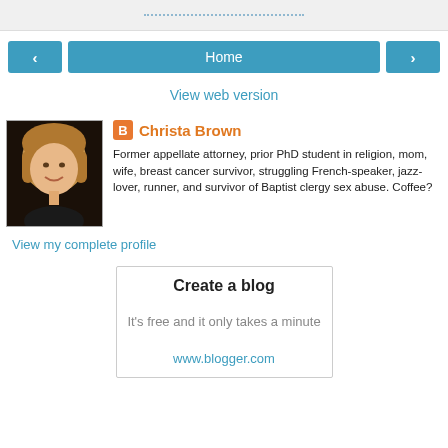< Home >
View web version
[Figure (photo): Profile photo of Christa Brown, a woman with short blonde/brown hair, smiling, wearing a dark top]
Christa Brown
Former appellate attorney, prior PhD student in religion, mom, wife, breast cancer survivor, struggling French-speaker, jazz-lover, runner, and survivor of Baptist clergy sex abuse. Coffee?
View my complete profile
Create a blog
It's free and it only takes a minute
www.blogger.com